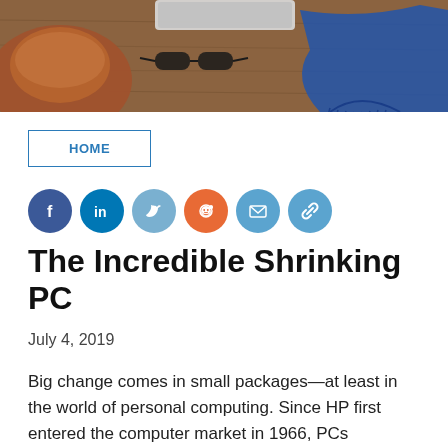[Figure (photo): Hero image showing a wooden desk surface with a leather bag/hat, sunglasses, laptop, and blue scarf accessories arranged on it.]
HOME
[Figure (infographic): Row of six social media sharing icon circles: Facebook (dark blue), LinkedIn (blue), Twitter (light blue), Reddit (orange), Email (light blue), Link/copy (light blue)]
The Incredible Shrinking PC
July 4, 2019
Big change comes in small packages—at least in the world of personal computing. Since HP first entered the computer market in 1966, PCs (personal computers—as they were eventually known) have continued to grow